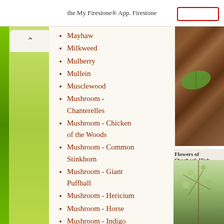the My Firestone® App. Firestone
Mayhaw
Milkweed
Mulberry
Mullein
Musclewood
Mushroom - Chanterelles
Mushroom - Chicken of the Woods
Mushroom - Common Stinkhorn
Mushroom - Giant Puffball
Mushroom - Hericium
Mushroom - Horse
Mushroom - Indigo Milk Cap
Mushroom - Morel
Mushroom - Oyster
[Figure (photo): Close-up photo of soil/ground with a green leaf visible, with a measuring scale marker]
Flowers of Shagbark Hick
[Figure (photo): Photo of Shagbark Hickory flowers on branches with leaves]